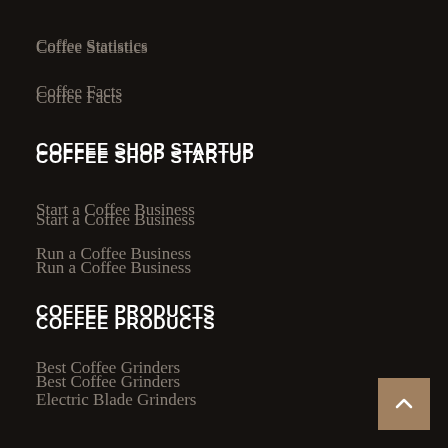Coffee Statistics
Coffee Facts
COFFEE SHOP STARTUP
Start a Coffee Business
Run a Coffee Business
COFFEE PRODUCTS
Best Coffee Grinders
Electric Blade Grinders
Electric Burr Grinders
Best Manual Grinders
ESPRESSO PRODUCTS